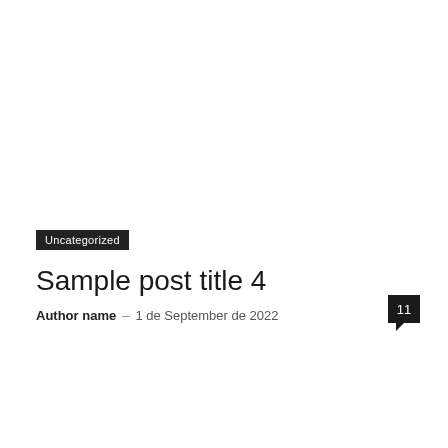Uncategorized
Sample post title 4
Author name – 1 de September de 2022
11